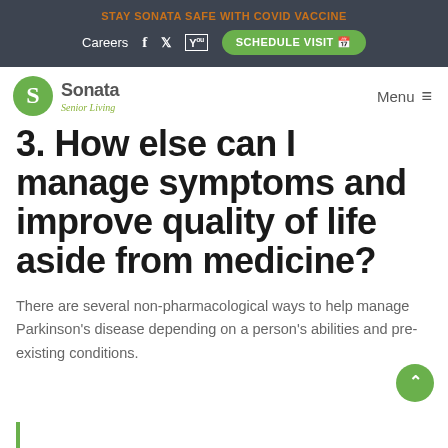STAY SONATA SAFE WITH COVID VACCINE
[Figure (logo): Sonata Senior Living logo with green circular S icon]
3. How else can I manage symptoms and improve quality of life aside from medicine?
There are several non-pharmacological ways to help manage Parkinson's disease depending on a person's abilities and pre-existing conditions.